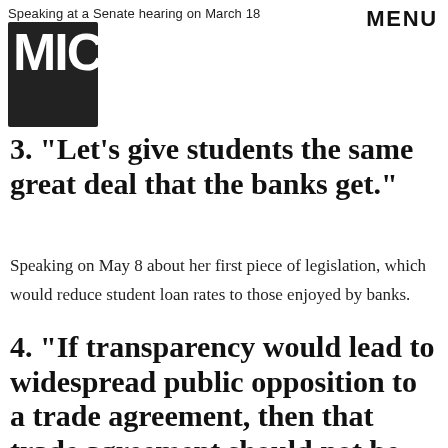Speaking at a Senate hearing on March 18
MENU
[Figure (logo): MIC logo - bold block letters MIC stacked vertically]
3. "Let's give students the same great deal that the banks get."
Speaking on May 8 about her first piece of legislation, which would reduce student loan rates to those enjoyed by banks.
4. "If transparency would lead to widespread public opposition to a trade agreement, then that trade agreement should not be the policy of the United States."